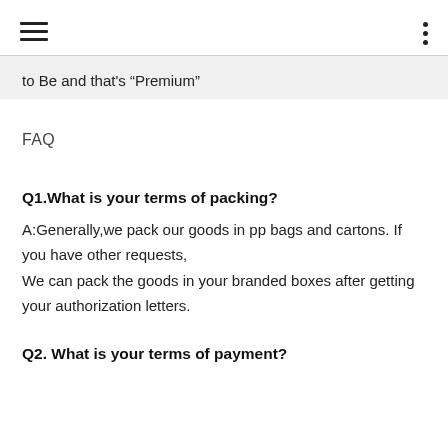[hamburger menu icon] [three-dot menu icon]
to Be and that’s “Premium”
FAQ
Q1.What is your terms of packing?
A:Generally,we pack our goods in pp bags and cartons. If you have other requests,
We can pack the goods in your branded boxes after getting your authorization letters.
Q2. What is your terms of payment?